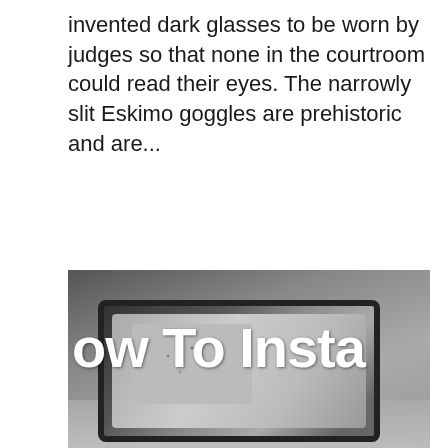invented dark glasses to be worn by judges so that none in the courtroom could read their eyes. The narrowly slit Eskimo goggles are prehistoric and are...
[Figure (photo): Photo showing a car interior with a rearview mirror and a hand applying window film to the windshield. Overlaid text reads 'ow To Insta' (partially visible heading) and a white banner at the bottom reads 'KDX-ANTI GLARE WINDOW FILM!']